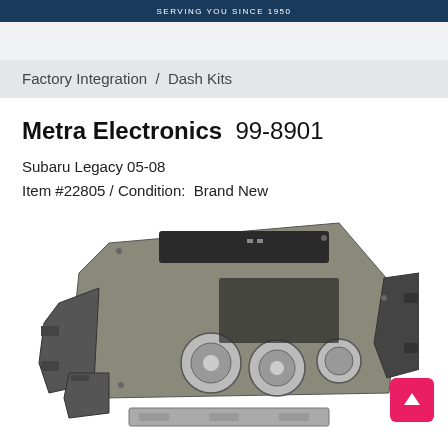SERVING YOU SINCE 1950
Factory Integration  /  Dash Kits
Metra Electronics  99-8901
Subaru Legacy 05-08
Item #22805 / Condition:  Brand New
[Figure (photo): Metra Electronics 99-8901 dash kit components for Subaru Legacy 05-08, showing gray/silver dash kit face plate with mounting brackets and hardware pieces spread out on white background]